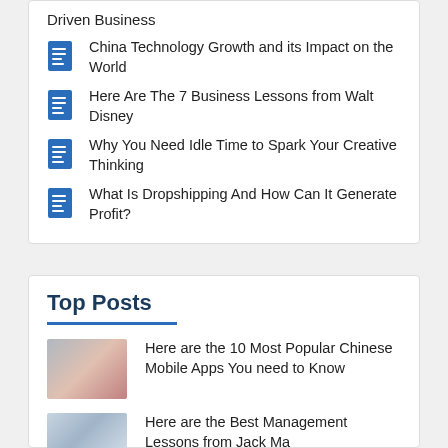Driven Business
China Technology Growth and its Impact on the World
Here Are The 7 Business Lessons from Walt Disney
Why You Need Idle Time to Spark Your Creative Thinking
What Is Dropshipping And How Can It Generate Profit?
Top Posts
Here are the 10 Most Popular Chinese Mobile Apps You need to Know
Here are the Best Management Lessons from Jack Ma